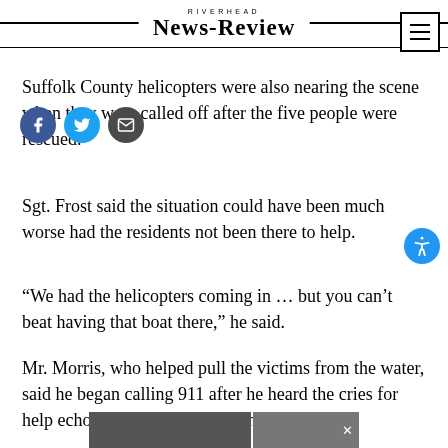RIVERHEAD News-Review
Suffolk County helicopters were also nearing the scene when they were called off after the five people were rescued.
Sgt. Frost said the situation could have been much worse had the residents not been there to help.
“We had the helicopters coming in … but you can’t beat having that boat there,” he said.
Mr. Morris, who helped pull the victims from the water, said he began calling 911 after he heard the cries for help echoing up the bluff near the seashore.